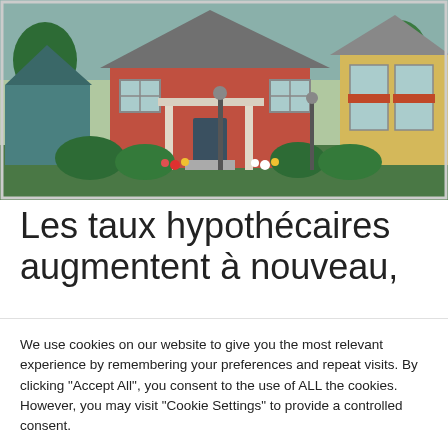[Figure (photo): Photograph of colorful suburban houses with well-maintained front gardens and hedges. A red/pink house in the center, a yellow house on the right, and a teal house on the left, with lush green landscaping and flowers.]
Les taux hypothécaires augmentent à nouveau,
We use cookies on our website to give you the most relevant experience by remembering your preferences and repeat visits. By clicking "Accept All", you consent to the use of ALL the cookies. However, you may visit "Cookie Settings" to provide a controlled consent.